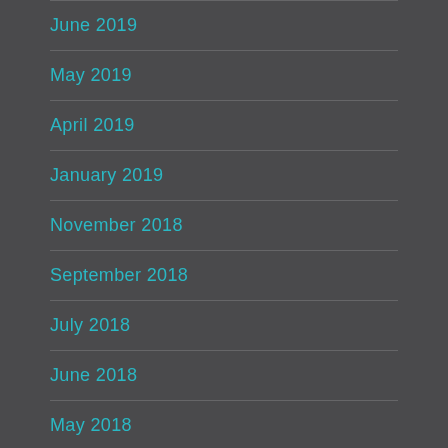June 2019
May 2019
April 2019
January 2019
November 2018
September 2018
July 2018
June 2018
May 2018